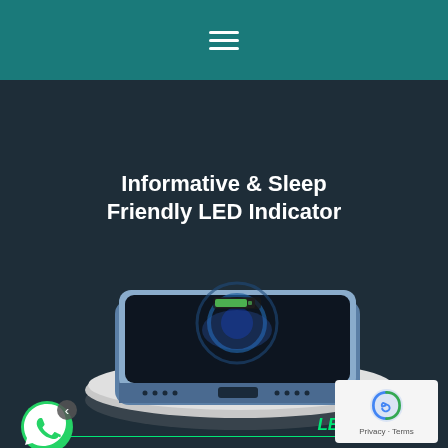≡
Informative & Sleep Friendly LED Indicator
[Figure (photo): A smartphone (iPhone-style, blue aluminum frame) lying flat on a white oval wireless charging pad. The phone's bottom edge with speaker grilles and Lightning port is visible. A green LED glows on the charging pad. A blue ring light animation is visible on the phone screen.]
LED Indicator
Flashing green — Metal obstruction
Flashing green for 2 seconds, then off — connected to power